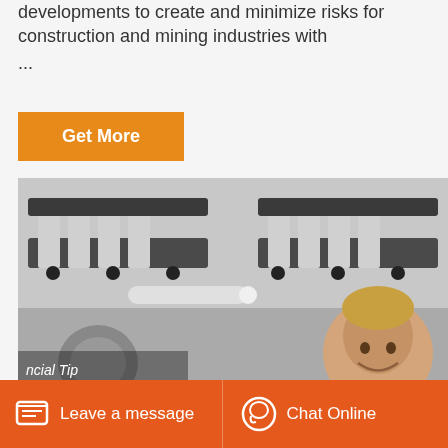developments to create and minimize risks for construction and mining industries with ...
[Figure (other): Orange 'Get More' button]
[Figure (photo): Industrial mechanical component - rail clamp or similar heavy machinery part for construction/mining. A smiling man (General Manager) is visible in the lower right. Text overlay reads 'ncial Tip' and 'General Manager'.]
Leave a message   Chat Online